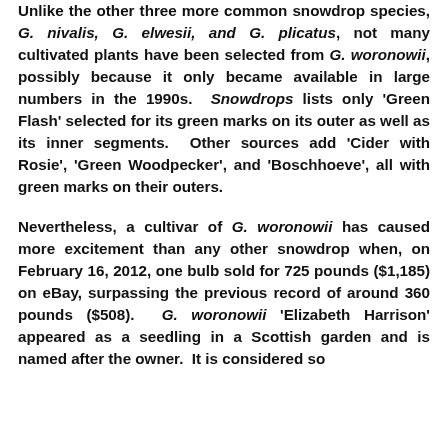Unlike the other three more common snowdrop species, G. nivalis, G. elwesii, and G. plicatus, not many cultivated plants have been selected from G. woronowii, possibly because it only became available in large numbers in the 1990s. Snowdrops lists only 'Green Flash' selected for its green marks on its outer as well as its inner segments. Other sources add 'Cider with Rosie', 'Green Woodpecker', and 'Boschhoeve', all with green marks on their outers.
Nevertheless, a cultivar of G. woronowii has caused more excitement than any other snowdrop when, on February 16, 2012, one bulb sold for 725 pounds ($1,185) on eBay, surpassing the previous record of around 360 pounds ($508). G. woronowii 'Elizabeth Harrison' appeared as a seedling in a Scottish garden and is named after the owner. It is considered so